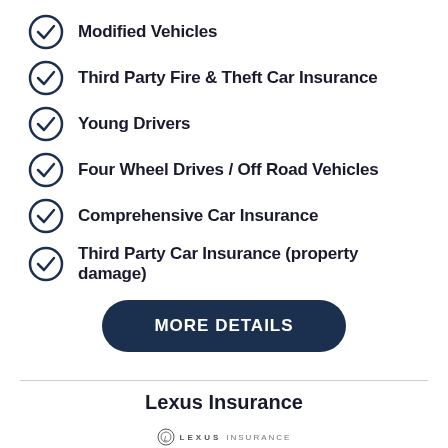Modified Vehicles
Third Party Fire & Theft Car Insurance
Young Drivers
Four Wheel Drives / Off Road Vehicles
Comprehensive Car Insurance
Third Party Car Insurance (property damage)
MORE DETAILS
Lexus Insurance
LEXUS INSURANCE